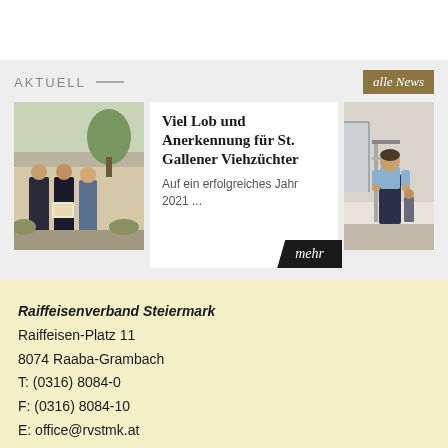AKTUELL
[Figure (photo): Button linking to all news: 'alle News']
[Figure (photo): Group of people standing outdoors holding a certificate/plaque]
Viel Lob und Anerkennung für St. Gallener Viehzüchter
Auf ein erfolgreiches Jahr 2021 ...
mehr
[Figure (photo): Man in light blue shirt standing on stairs indoors]
Raiffeisenverband Steiermark
Raiffeisen-Platz 11
8074 Raaba-Grambach
T: (0316) 8084-0
F: (0316) 8084-10
E: office@rvstmk.at
Webdesign by Werbeagentur BIG PEN Graz / Internetagentur BJB-media